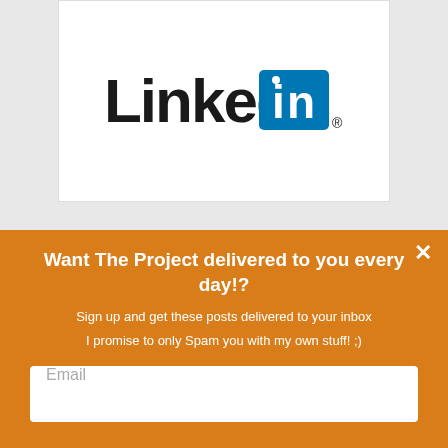[Figure (logo): LinkedIn logo — black wordmark 'Linked' followed by a teal square with white 'in' text and a registered trademark symbol]
Want The Project delivered to you every day!?
Sign up and get these posts delivered to your inbox
I promise to only Spam you with my own stuff! ;)
Email
SUBSCRIBE